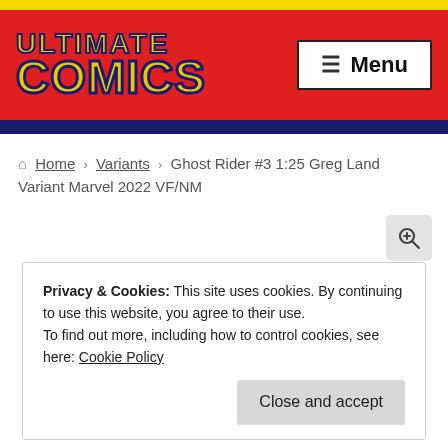[Figure (logo): Ultimate Comics logo on red header background with yellow top stripe and navy bottom stripe, and a Menu button on the right]
Home › Variants › Ghost Rider #3 1:25 Greg Land Variant Marvel 2022 VF/NM
[Figure (other): Zoom/magnify icon button (search with plus)]
Privacy & Cookies: This site uses cookies. By continuing to use this website, you agree to their use.
To find out more, including how to control cookies, see here: Cookie Policy
Close and accept